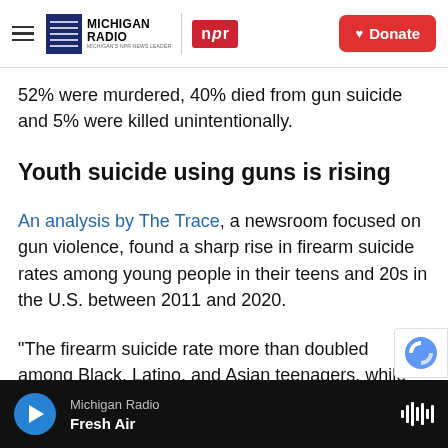Michigan Radio | NPR | Donate
52% were murdered, 40% died from gun suicide and 5% were killed unintentionally.
Youth suicide using guns is rising
An analysis by The Trace, a newsroom focused on gun violence, found a sharp rise in firearm suicide rates among young people in their teens and 20s in the U.S. between 2011 and 2020.
"The firearm suicide rate more than doubled among Black, Latino, and Asian teenagers, while it increased by 88 percent for Native Americans
Michigan Radio | Fresh Air